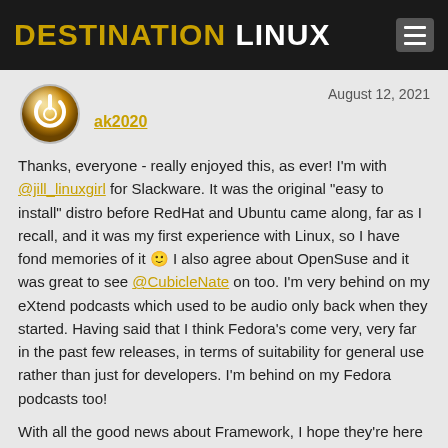DESTINATION LINUX
ak2020
August 12, 2021
Thanks, everyone - really enjoyed this, as ever! I'm with @jill_linuxgirl for Slackware. It was the original "easy to install" distro before RedHat and Ubuntu came along, far as I recall, and it was my first experience with Linux, so I have fond memories of it 🙂 I also agree about OpenSuse and it was great to see @CubicleNate on too. I'm very behind on my eXtend podcasts which used to be audio only back when they started. Having said that I think Fedora's come very, very far in the past few releases, in terms of suitability for general use rather than just for developers. I'm behind on my Fedora podcasts too!
With all the good news about Framework, I hope they're here to stay - and support AMD as well!